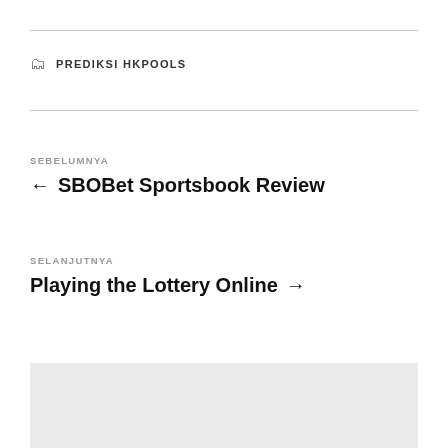PREDIKSI HKPOOLS
← SBOBet Sportsbook Review
Playing the Lottery Online →